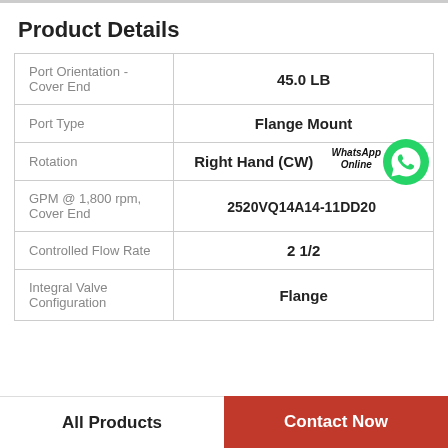Product Details
| Property | Value |
| --- | --- |
| Port Orientation - Cover End | 45.0 LB |
| Port Type | Flange Mount |
| Rotation | Right Hand (CW) |
| GPM @ 1,800 rpm, Cover End | 2520VQ14A14-11DD20 |
| Controlled Flow Rate | 2 1/2 |
| Integral Valve Configuration | Flange |
All Products
Contact Now